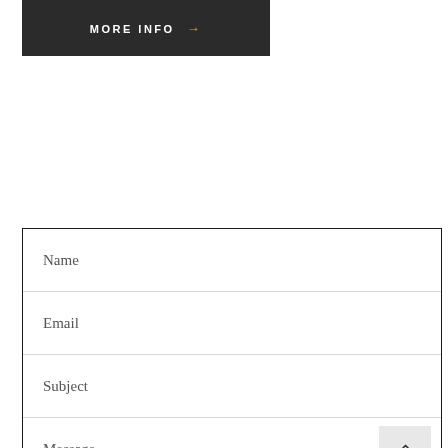MORE INFO →
Name
Email
Subject
Message